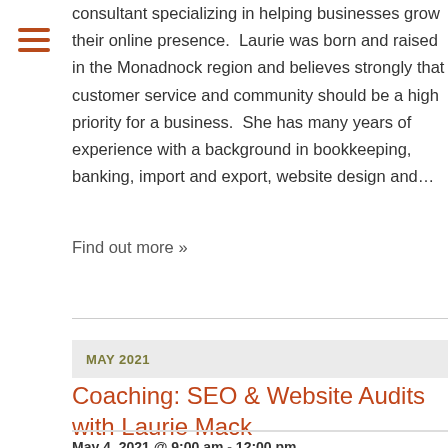consultant specializing in helping businesses grow their online presence.  Laurie was born and raised in the Monadnock region and believes strongly that customer service and community should be a high priority for a business.  She has many years of experience with a background in bookkeeping, banking, import and export, website design and…
Find out more »
MAY 2021
Coaching: SEO & Website Audits with Laurie Mack
May 4, 2021 @ 9:00 am - 12:00 pm